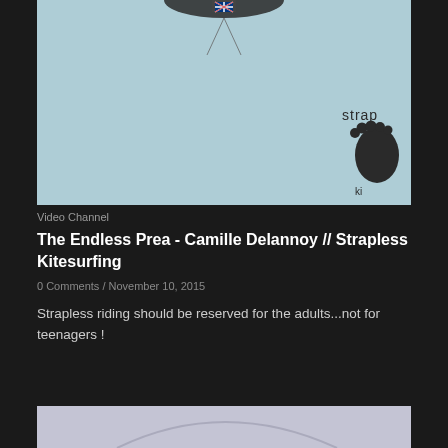[Figure (photo): A light blue/teal colored image showing kitesurfing scene with a footprint logo and text 'strap' partially visible in the lower right corner]
Video Channel
The Endless Prea - Camille Delannoy // Strapless Kitesurfing
0 Comments / November 10, 2015
Strapless riding should be reserved for the adults...not for teenagers !
[Figure (photo): Partial bottom image, light gray/purple toned, partially visible]